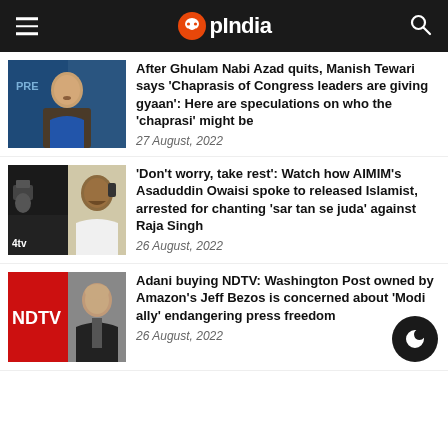OpIndia
[Figure (photo): Photo of Manish Tewari at a press conference]
After Ghulam Nabi Azad quits, Manish Tewari says 'Chaprasis of Congress leaders are giving gyaan': Here are speculations on who the 'chaprasi' might be
27 August, 2022
[Figure (photo): Composite photo of Asaduddin Owaisi on phone and a crowd scene with 4tv watermark]
'Don't worry, take rest': Watch how AIMIM's Asaduddin Owaisi spoke to released Islamist, arrested for chanting 'sar tan se juda' against Raja Singh
26 August, 2022
[Figure (photo): NDTV logo on red background alongside photo of Jeff Bezos]
Adani buying NDTV: Washington Post owned by Amazon's Jeff Bezos is concerned about 'Modi ally' endangering press freedom
26 August, 2022